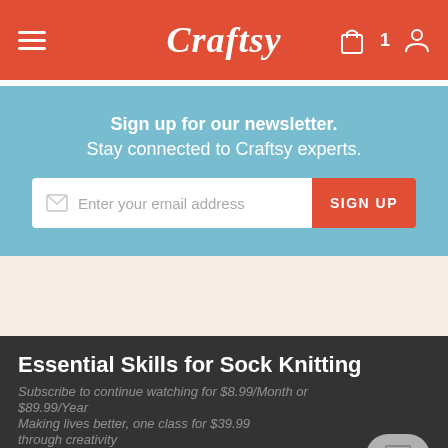Craftsy
Sign up for our newsletter. Stay connected to Craftsy experts.
Enter your email address SIGN UP
Essential Skills for Sock Knitting
Subscribe to continue watching for $8.99/Month or $89.99/Year. Making lives better, one class for $39.99 through creativity
GET CLASS ACCESS